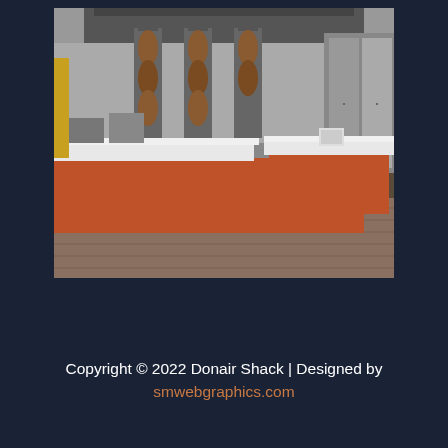[Figure (photo): Interior photo of a restaurant kitchen/service counter with a terracotta/rust-colored counter front, white countertop, stainless steel equipment including vertical broilers/rotisseries in the background, and wood-tone flooring.]
Copyright © 2022 Donair Shack | Designed by smwebgraphics.com